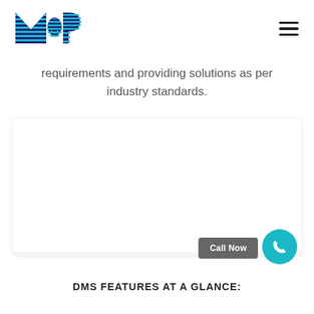[Figure (logo): M&P company logo with teal and dark blue horizontal striped letters]
requirements and providing solutions as per industry standards.
[Figure (other): Large white/light gray card area, mostly blank, with a Call Now button and phone icon in bottom right]
DMS FEATURES AT A GLANCE: